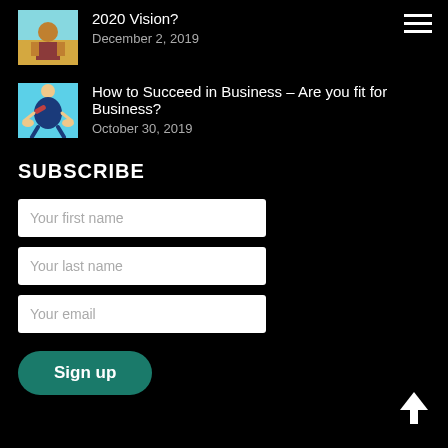[Figure (photo): Thumbnail image for first article (2020 Vision?)]
2020 Vision?
December 2, 2019
[Figure (photo): Thumbnail image for second article showing person meditating in business suit]
How to Succeed in Business – Are you fit for Business?
October 30, 2019
SUBSCRIBE
Your first name
Your last name
Your email
Sign up